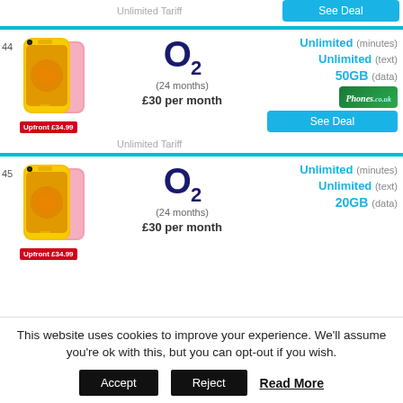Unlimited Tariff
See Deal
[Figure (screenshot): iPhone XR yellow phone deal row 44: O2 network, Upfront £34.99, 24 months, £30 per month, Unlimited minutes, Unlimited text, 50GB data, phones.co.uk logo, See Deal button]
[Figure (screenshot): iPhone XR yellow phone deal row 45: O2 network, Upfront £34.99, 24 months, £30 per month, Unlimited minutes, Unlimited text, 20GB data]
This website uses cookies to improve your experience. We'll assume you're ok with this, but you can opt-out if you wish.
Accept
Reject
Read More